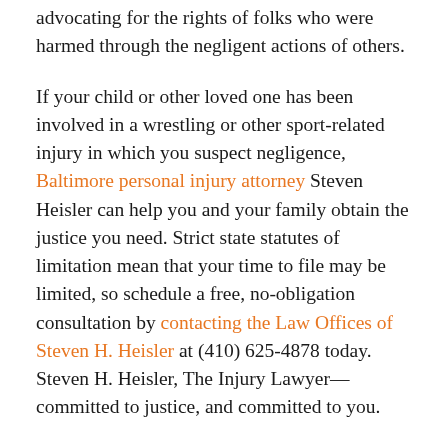advocating for the rights of folks who were harmed through the negligent actions of others.
If your child or other loved one has been involved in a wrestling or other sport-related injury in which you suspect negligence, Baltimore personal injury attorney Steven Heisler can help you and your family obtain the justice you need. Strict state statutes of limitation mean that your time to file may be limited, so schedule a free, no-obligation consultation by contacting the Law Offices of Steven H. Heisler at (410) 625-4878 today. Steven H. Heisler, The Injury Lawyer—committed to justice, and committed to you.